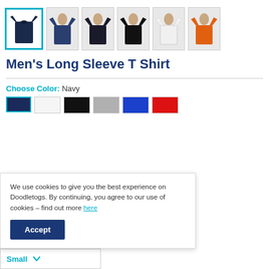[Figure (photo): Row of product thumbnail images: first is a navy long sleeve t-shirt (selected, cyan border), followed by 5 men wearing long sleeve shirts in navy, dark navy/black, black, white, and orange colors.]
Men's Long Sleeve T Shirt
Choose Color:  Navy
[Figure (other): Color swatches: navy (selected with cyan border), white, black, grey, blue, red]
We use cookies to give you the best experience on Doodletogs. By continuing, you agree to our use of cookies – find out more here
Accept
Small